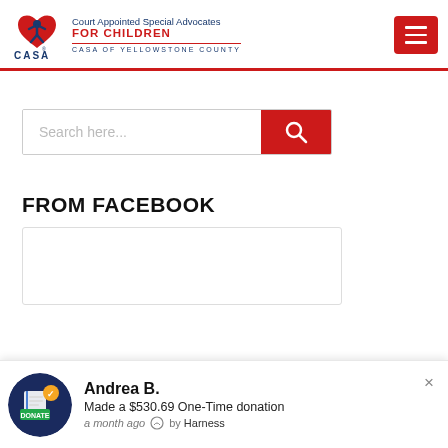[Figure (logo): CASA - Court Appointed Special Advocates FOR CHILDREN, CASA of Yellowstone County logo with red heart and blue figure]
[Figure (other): Red hamburger/menu button with three white lines]
Search here...
FROM FACEBOOK
[Figure (screenshot): Empty Facebook embed box]
Andrea B.
Made a $530.69 One-Time donation
a month ago  by Harness